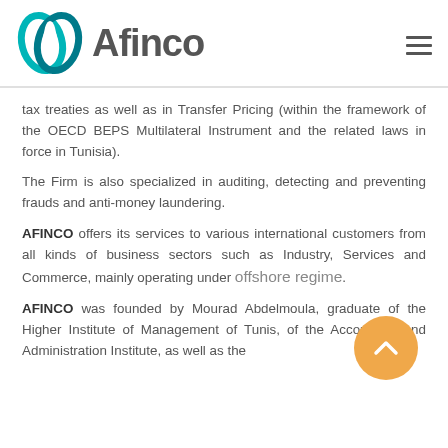[Figure (logo): Afinco logo with teal/green intertwined circles icon and grey 'Afinco' wordmark]
tax treaties as well as in Transfer Pricing (within the framework of the OECD BEPS Multilateral Instrument and the related laws in force in Tunisia).
The Firm is also specialized in auditing, detecting and preventing frauds and anti-money laundering.
AFINCO offers its services to various international customers from all kinds of business sectors such as Industry, Services and Commerce, mainly operating under offshore regime.
AFINCO was founded by Mourad Abdelmoula, graduate of the Higher Institute of Management of Tunis, of the Accounting and Administration Institute, as well as the